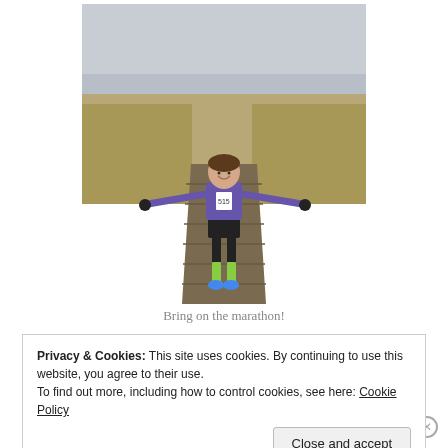[Figure (photo): A person standing on a wooden boardwalk path through sandy dunes, arms spread wide, wearing a purple jacket, race bib, black shorts, green socks, and blue running shoes. Overcast sky in background.]
Bring on the marathon!
Privacy & Cookies: This site uses cookies. By continuing to use this website, you agree to their use.
To find out more, including how to control cookies, see here: Cookie Policy
Close and accept
Cape Cod Marathon as my fall race. I'd heard it was a